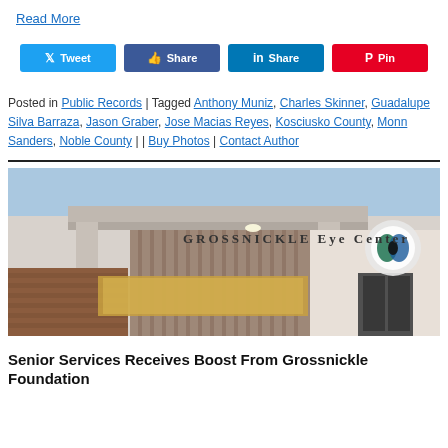Read More
[Figure (other): Social share buttons: Twitter, Share (Facebook), LinkedIn, Pinterest]
Posted in Public Records | Tagged Anthony Muniz, Charles Skinner, Guadalupe Silva Barraza, Jason Graber, Jose Macias Reyes, Kosciusko County, Monn Sanders, Noble County | | Buy Photos | Contact Author
[Figure (photo): Exterior photograph of Grossnickle Eye Center building, showing the building sign, canopy, brick and metal facade, and logo.]
Senior Services Receives Boost From Grossnickle Foundation